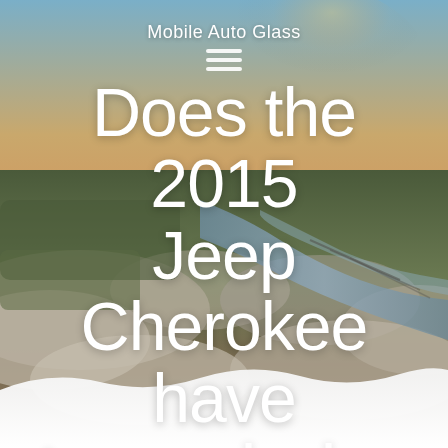[Figure (photo): Aerial photograph of a city with a river, bridges, and low-lying fog or mist, shot during golden hour. The sky transitions from warm orange/golden tones near the horizon to cooler blue-grey above. Mist swirls over the river and surrounding landscape.]
Mobile Auto Glass
Does the 2015 Jeep Cherokee have transmission problems?